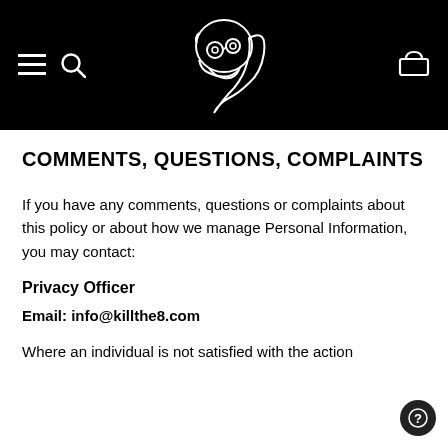[Figure (logo): Black header bar with white line-art logo of a girl with goggles and ponytail in center, hamburger menu and search icon on left, shopping basket icon on right]
COMMENTS, QUESTIONS, COMPLAINTS
If you have any comments, questions or complaints about this policy or about how we manage Personal Information, you may contact:
Privacy Officer
Email: info@killthe8.com
Where an individual is not satisfied with the action